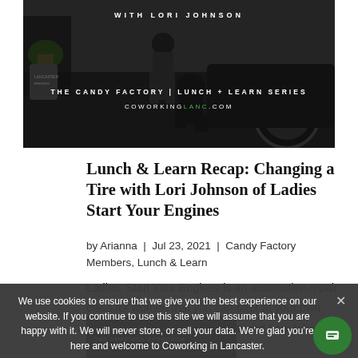[Figure (photo): Hero image showing a person changing a tire on a dark SUV, with overlay text 'WITH LORI JOHNSON' at top and 'THE CANDY FACTORY | LUNCH + LEARN SERIES' and 'COWORKINGLANC.COM' in center]
Lunch & Learn Recap: Changing a Tire with Lori Johnson of Ladies Start Your Engines
by Arianna | Jul 23, 2021 | Candy Factory Members, Lunch & Learn
Ladies, Start Your Engines is an automotive repair class for women that you can offer at your own facility. Taught by automotive expert Lori Johnson, the goals of this hands-on class are to: · Empower the participants by giving each woman the confidence to perform her...
We use cookies to ensure that we give you the best experience on our website. If you continue to use this site we will assume that you are happy with it. We will never store, or sell your data. We're glad you're here and welcome to Coworking in Lancaster.
[Figure (screenshot): Bottom strip showing a virtual lunch and learn thumbnail with text 'VIRTUAL LUNCH & LEARN THE JAMSTACK APPROACH']